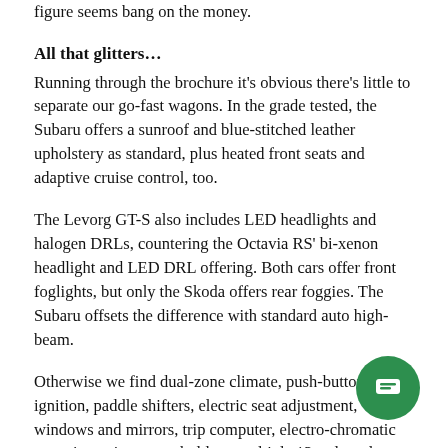figure seems bang on the money.
All that glitters…
Running through the brochure it's obvious there's little to separate our go-fast wagons. In the grade tested, the Subaru offers a sunroof and blue-stitched leather upholstery as standard, plus heated front seats and adaptive cruise control, too.
The Levorg GT-S also includes LED headlights and halogen DRLs, countering the Octavia RS' bi-xenon headlight and LED DRL offering. Both cars offer front foglights, but only the Skoda offers rear foggies. The Subaru offsets the difference with standard auto high-beam.
Otherwise we find dual-zone climate, push-button ignition, paddle shifters, electric seat adjustment, windows and mirrors, trip computer, electro-chromatic rear-view mirror, cup-holders, multiple 12-volt outlets common to both; and much more besides. Really, these are very well-equipped vehicles for the money, and each pack a lot of gear for the price.
It's a similar theme where infotainment is concerned. The Subaru might offer a smaller touchscreen than the Skoda (7.0 v 8.0 inches) and fewer speakers (six versus eight), but both offer AM/FM radio